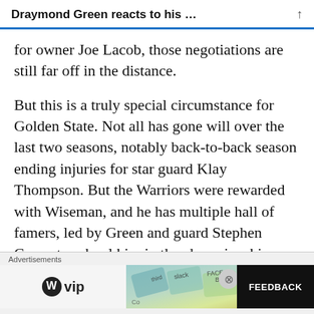Draymond Green reacts to his …
for owner Joe Lacob, those negotiations are still far off in the distance.
But this is a truly special circumstance for Golden State. Not all has gone will over the last two seasons, notably back-to-back season ending injuries for star guard Klay Thompson. But the Warriors were rewarded with Wiseman, and he has multiple hall of famers, led by Green and guard Stephen Curry, to school him in the championship
[Figure (screenshot): Advertisement bar with WordPress VIP logo, colorful ad image, and FEEDBACK button]
Advertisements